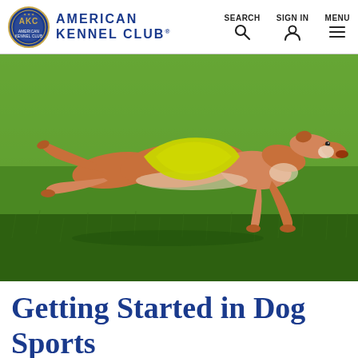American Kennel Club — SEARCH | SIGN IN | MENU
[Figure (photo): A greyhound dog wearing a yellow/lime-green racing vest leaping at full stride across a grassy field]
Getting Started in Dog Sports